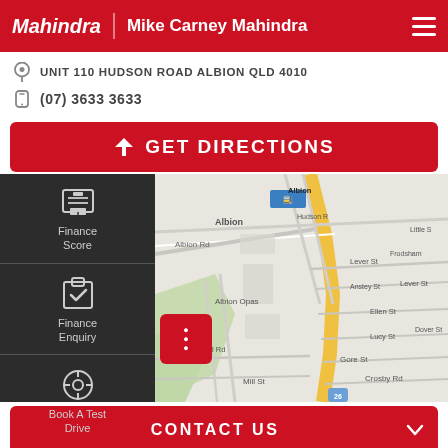Mahindra | Mike Carney Mahindra
UNIT 110 HUDSON ROAD ALBION QLD 4010
(07) 3633 3633
GET DIRECTIONS
[Figure (screenshot): Street map showing Albion area with streets including Albion Rd, Hudson Rd, Albion Opas, McDonald Rd, Mill St, Gore St, Crosby Rd, Lever St, Anstey St, Frodsham, Dover St, Lucy St, Ellen St, Little St]
Finance Score
Finance Enquiry
Book A Test Drive
CONTACT US
FINANCE SCORE